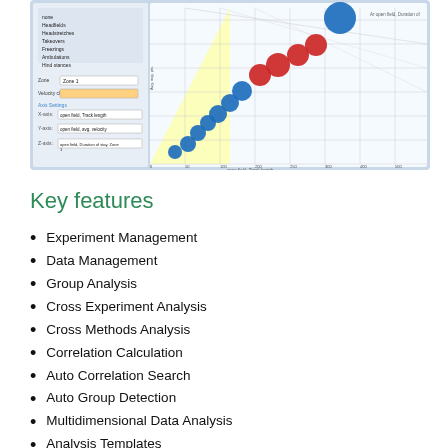[Figure (screenshot): Software screenshot showing a 3D scatter plot interface with blue and red spherical data points arranged diagonally, a control panel on the left with zone/velocity settings, and axis labels for track length and duration]
Key features
Experiment Management
Data Management
Group Analysis
Cross Experiment Analysis
Cross Methods Analysis
Correlation Calculation
Auto Correlation Search
Auto Group Detection
Multidimensional Data Analysis
Analysis Templates